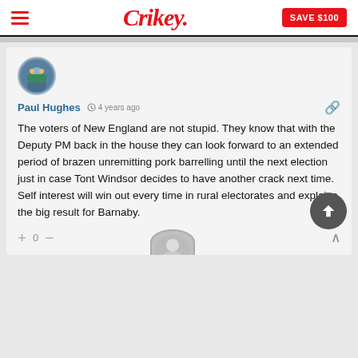Crikey.
Paul Hughes  4 years ago
The voters of New England are not stupid. They know that with the Deputy PM back in the house they can look forward to an extended period of brazen unremitting pork barrelling until the next election just in case Tont Windsor decides to have another crack next time. Self interest will win out every time in rural electorates and explains the big result for Barnaby.